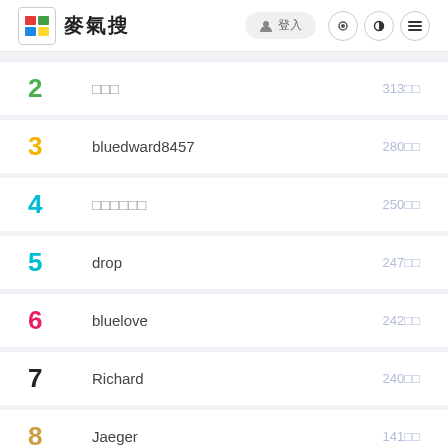麥氣搜
2 □□□ 313□□
3 bluedward8457 280□□
4 □□□□□□ 250□□
5 drop 247□□
6 bluelove 242□□
7 Richard 240□□
8 Jaeger 141□□